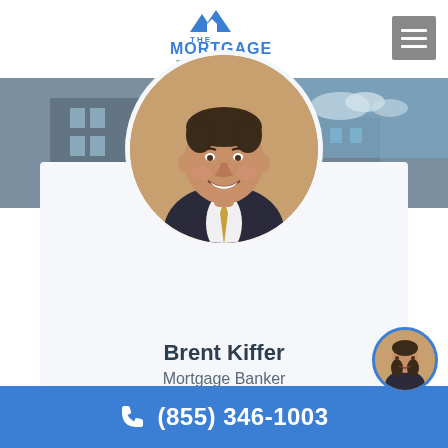[Figure (logo): The Mortgage Professional logo with house/mountain icon in blue above text]
[Figure (photo): Circular headshot photo of Brent Kiffer, a smiling man in a dark suit with gold tie, against a warm brown/gold background. Background banner shows a building with blue sky.]
Brent Kiffer
Mortgage Banker
[Figure (photo): Small circular thumbnail headshot of Brent Kiffer in bottom-right corner]
(855) 346-1003